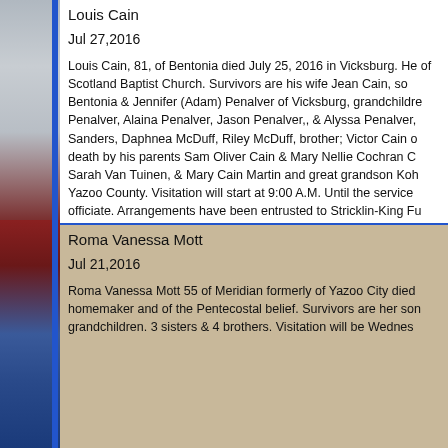Louis Cain
Jul 27,2016
Louis Cain, 81, of Bentonia died July 25, 2016 in Vicksburg. He of Scotland Baptist Church. Survivors are his wife Jean Cain, so Bentonia & Jennifer (Adam) Penalver of Vicksburg, grandchildre Penalver, Alaina Penalver, Jason Penalver,, & Alyssa Penalver, Sanders, Daphnea McDuff, Riley McDuff, brother; Victor Cain o death by his parents Sam Oliver Cain & Mary Nellie Cochran C Sarah Van Tuinen, & Mary Cain Martin and great grandson Koh Yazoo County. Visitation will start at 9:00 A.M. Until the service officiate. Arrangements have been entrusted to Stricklin-King Fu
Roma Vanessa Mott
Jul 21,2016
Roma Vanessa Mott 55 of Meridian formerly of Yazoo City died homemaker and of the Pentecostal belief. Survivors are her son grandchildren. 3 sisters & 4 brothers. Visitation will be Wednes